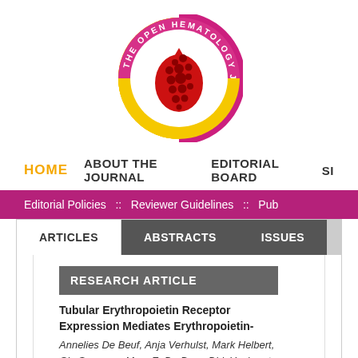[Figure (logo): The Open Hematology Journal circular logo with red blood drop and yellow/pink ring]
HOME   ABOUT THE JOURNAL   EDITORIAL BOARD   SI
Editorial Policies  ::  Reviewer Guidelines  ::  Pub
ARTICLES   ABSTRACTS   ISSUES
RESEARCH ARTICLE
Tubular Erythropoietin Receptor Expression Mediates Erythropoietin-
Annelies De Beuf, Anja Verhulst, Mark Helbert, Gie Spaepen, Marc E. De Broe, Dirk Ysebaert and Patrick C. D'Haese